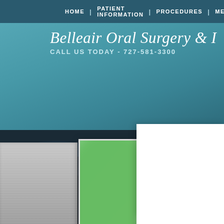HOME | PATIENT INFORMATION | PROCEDURES | MEE...
Belleair Oral Surgery & I...
CALL US TODAY - 727-581-3300
[Figure (photo): Abstract close-up photo with bokeh green leaves and blue/silver curved grass blades with water droplets]
BELLEA
&
Ralph...